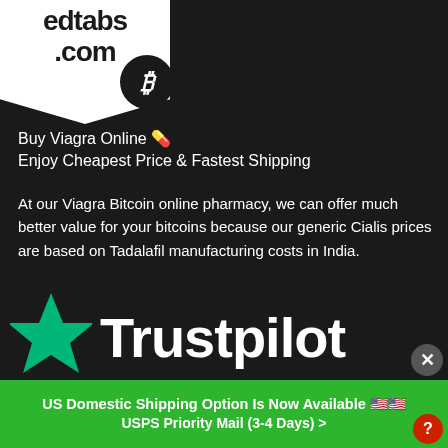[Figure (logo): edtabs.com logo on white banner/ribbon background with Bitcoin symbol circle]
Buy Viagra Online 💊
Enjoy Cheapest Price & Fastest Shipping
At our Viagra Bitcoin online pharmacy, we can offer much better value for your bitcoins because our generic Cialis prices are based on Tadalafil manufacturing costs in India.
We are so confident in the power of our Tadarise tablets that we give away free Viagra samples.
[Figure (logo): Trustpilot logo with green star and white wordmark on dark background]
US Domestic Shipping Option Is Now Available 🇺🇸🇺🇸
USPS Priority Mail (3-4 Days) >